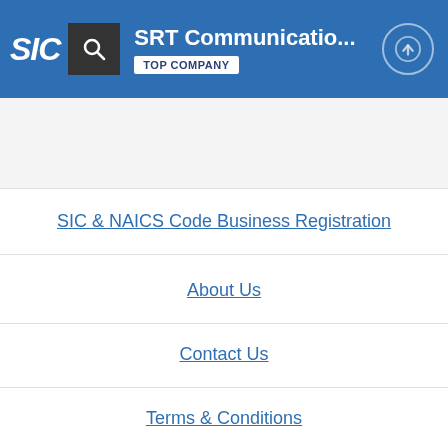SIC | SRT Communicatio... | TOP COMPANY
SIC & NAICS Code Business Registration
About Us
Contact Us
Terms & Conditions